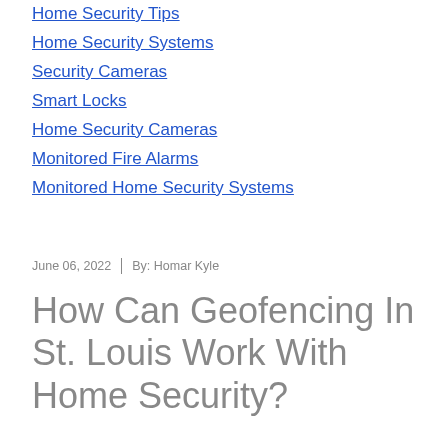Home Security Tips
Home Security Systems
Security Cameras
Smart Locks
Home Security Cameras
Monitored Fire Alarms
Monitored Home Security Systems
June 06, 2022 | By: Homar Kyle
How Can Geofencing In St. Louis Work With Home Security?